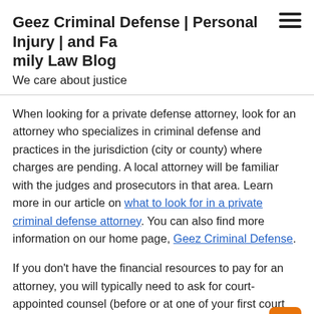Geez Criminal Defense | Personal Injury | and Family Law Blog
We care about justice
When looking for a private defense attorney, look for an attorney who specializes in criminal defense and practices in the jurisdiction (city or county) where charges are pending. A local attorney will be familiar with the judges and prosecutors in that area. Learn more in our article on what to look for in a private criminal defense attorney. You can also find more information on our home page, Geez Criminal Defense.
If you don't have the financial resources to pay for an attorney, you will typically need to ask for court-appointed counsel (before or at one of your first court hearings) and fill our paperwork on your financial resources. Learn more in our article on public defender